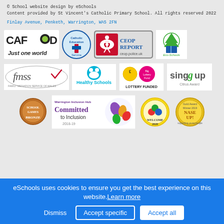© School website design by eSchools
Content provided by St Vincent's Catholic Primary School. All rights reserved 2022
Finlay Avenue, Penketh, Warrington, WA5 2FN
[Figure (logo): CAFOD Just one world logo]
[Figure (logo): Catholic Education Service logo]
[Figure (logo): CEOP REPORT ceop.police.uk logo]
[Figure (logo): Eco-Schools logo]
[Figure (logo): fmss logo]
[Figure (logo): Healthy Schools logo]
[Figure (logo): Lottery Funded logo]
[Figure (logo): Sing Up Citrus Award logo]
[Figure (logo): School Games Bronze logo]
[Figure (logo): Warrington Inclusion Hub Committed to Inclusion 2018-19 logo]
[Figure (logo): Welcome logo 2020]
[Figure (logo): Gold Award NASE UP logo]
eSchools uses cookies to ensure you get the best experience on this website. Learn more
Dismiss | Accept specific | Accept all